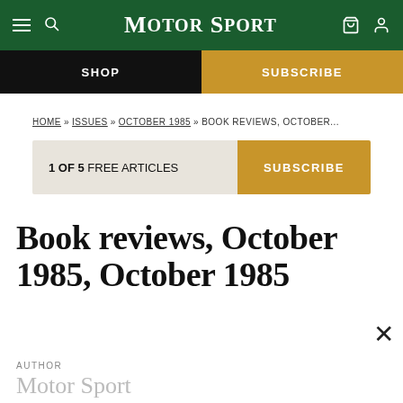Motor Sport
SHOP | SUBSCRIBE
HOME » ISSUES » OCTOBER 1985 » BOOK REVIEWS, OCTOBER...
1 OF 5 FREE ARTICLES  SUBSCRIBE
Book reviews, October 1985, October 1985
AUTHOR
Motor Sport